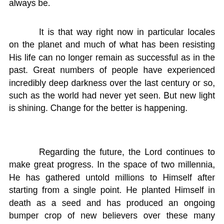always be.
It is that way right now in particular locales on the planet and much of what has been resisting His life can no longer remain as successful as in the past. Great numbers of people have experienced incredibly deep darkness over the last century or so, such as the world had never yet seen. But new light is shining. Change for the better is happening.
Regarding the future, the Lord continues to make great progress. In the space of two millennia, He has gathered untold millions to Himself after starting from a single point. He planted Himself in death as a seed and has produced an ongoing bumper crop of new believers over these many centuries. He could not have done it without us. We each have a specific job to do and a function for ourselves, our partners, and others.